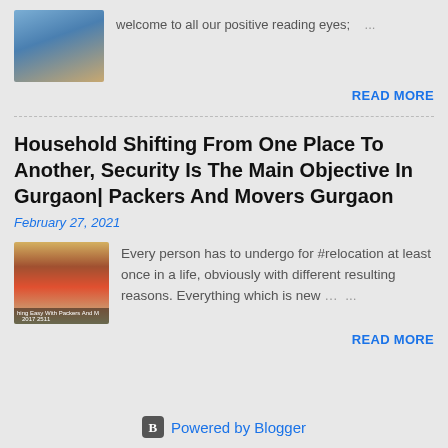[Figure (photo): Small thumbnail image of packers and movers related content with red/blue colors and label text]
welcome to all our positive reading eyes; ...
READ MORE
Household Shifting From One Place To Another, Security Is The Main Objective In Gurgaon| Packers And Movers Gurgaon
February 27, 2021
[Figure (photo): Thumbnail image of a red truck on a road, moving/transport related]
Every person has to undergo for #relocation at least once in a life, obviously with different resulting reasons. Everything which is new … ...
READ MORE
Powered by Blogger